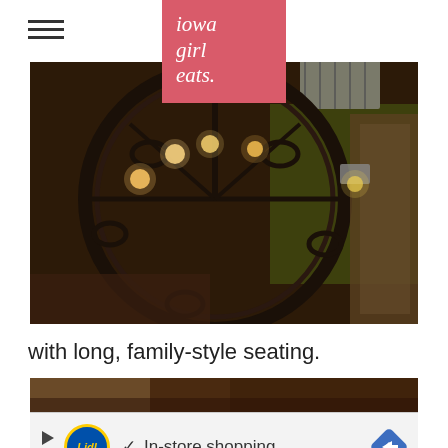iowa girl eats.
[Figure (photo): Interior restaurant photo looking up at a large circular wrought-iron chandelier with lights, warm brown tones, green ambient lighting in background, ceiling vent visible]
with long, family-style seating.
[Figure (photo): Partial restaurant interior photo, brown tones, bottom of page]
[Figure (screenshot): Advertisement bar for Lidl showing play button, Lidl logo, checkmark, 'In-store shopping' text, and blue diamond arrow button]